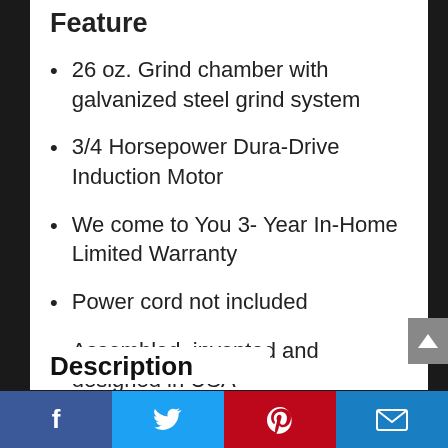Feature
26 oz. Grind chamber with galvanized steel grind system
3/4 Horsepower Dura-Drive Induction Motor
We come to You 3- Year In-Home Limited Warranty
Power cord not included
Assembled, invented and designed in USA
Description